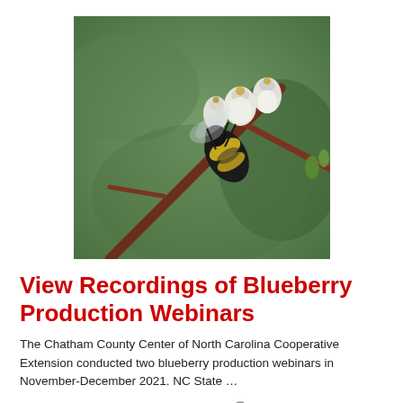[Figure (photo): Close-up photograph of a bumblebee pollinating blueberry blossoms on a branch with small white flowers, against a green blurred background.]
View Recordings of Blueberry Production Webinars
The Chatham County Center of North Carolina Cooperative Extension conducted two blueberry production webinars in November-December 2021. NC State …
— 7 months ago,  Growing Small Farms  [icon]